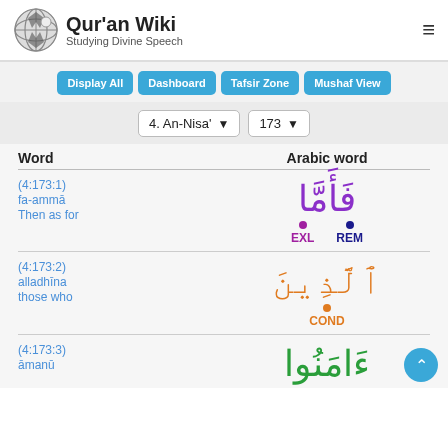Qur'an Wiki — Studying Divine Speech
Display All | Dashboard | Tafsir Zone | Mushaf View
4. An-Nisa' | 173
| Word | Arabic word |
| --- | --- |
| (4:173:1)
fa-ammā
Then as for | فَأَمَّا (EXL / REM) |
| (4:173:2)
alladhīna
those who | ٱلَّذِينَ (COND) |
| (4:173:3)
āmanū | ءَامَنُوا |